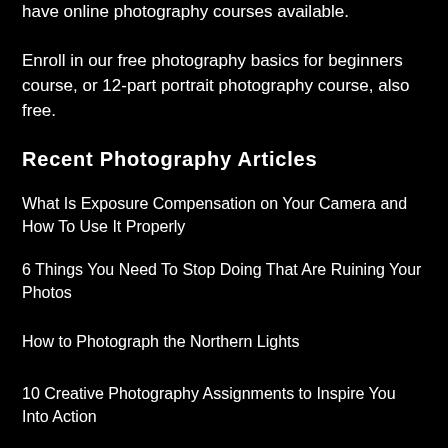have online photography courses available. Enroll in our free photography basics for beginners course, or 12-part portrait photography course, also free.
Recent Photography Articles
What Is Exposure Compensation on Your Camera and How To Use It Properly
6 Things You Need To Stop Doing That Are Ruining Your Photos
How to Photograph the Northern Lights
10 Creative Photography Assignments to Inspire You Into Action